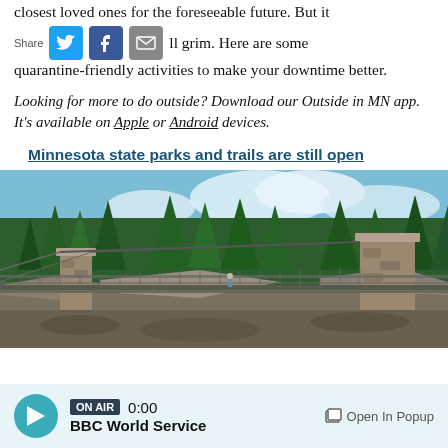closest loved ones for the foreseeable future. But it
ll grim. Here are some quarantine-friendly activities to make your downtime better.
Looking for more to do outside? Download our Outside in MN app. It's available on Apple or Android devices.
Minnesota state parks and trails are still open
[Figure (photo): A suspension bridge made of stone pillars and metal railings crosses a rocky gorge, surrounded by tall green pine trees under a partly cloudy blue sky.]
ON AIR 0:00 BBC World Service Open In Popup